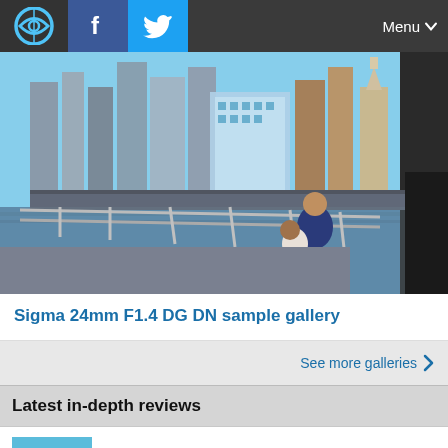DPReview navigation bar with logo, Facebook, Twitter icons and Menu button
[Figure (photo): City waterfront scene with two people leaning on a railing, Seattle skyline in background including a pointed tower, blue sky and water visible]
Sigma 24mm F1.4 DG DN sample gallery
See more galleries >
Latest in-depth reviews
DJI Avata review
Aug 25, 2022